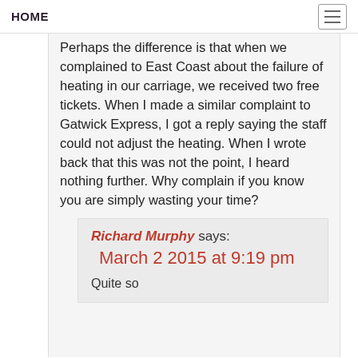HOME
Perhaps the difference is that when we complained to East Coast about the failure of heating in our carriage, we received two free tickets. When I made a similar complaint to Gatwick Express, I got a reply saying the staff could not adjust the heating. When I wrote back that this was not the point, I heard nothing further. Why complain if you know you are simply wasting your time?
Richard Murphy says: March 2 2015 at 9:19 pm

Quite so